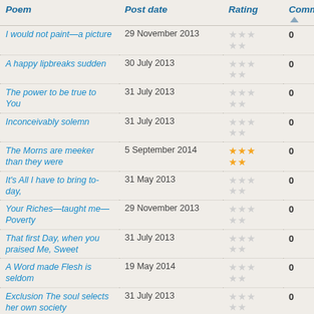| Poem | Post date | Rating | Commer▲ |
| --- | --- | --- | --- |
| I would not paint—a picture | 29 November 2013 | ☆☆☆ / ☆☆ | 0 |
| A happy lipbreaks sudden | 30 July 2013 | ☆☆☆ / ☆☆ | 0 |
| The power to be true to You | 31 July 2013 | ☆☆☆ / ☆☆ | 0 |
| Inconceivably solemn | 31 July 2013 | ☆☆☆ / ☆☆ | 0 |
| The Morns are meeker than they were | 5 September 2014 | ★★★ / ★★ | 0 |
| It's All I have to bring to-day, | 31 May 2013 | ☆☆☆ / ☆☆ | 0 |
| Your Riches—taught me—Poverty | 29 November 2013 | ☆☆☆ / ☆☆ | 0 |
| That first Day, when you praised Me, Sweet | 31 July 2013 | ☆☆☆ / ☆☆ | 0 |
| A Word made Flesh is seldom | 19 May 2014 | ☆☆☆ / ☆☆ | 0 |
| Exclusion The soul selects her own society | 31 July 2013 | ☆☆☆ / ☆☆ | 0 |